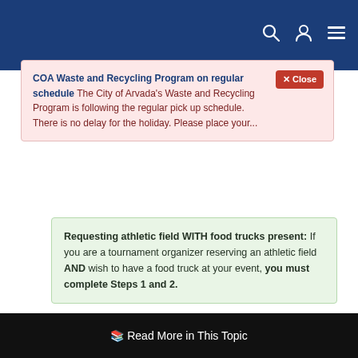[Navigation bar with search, user, and menu icons]
COA Waste and Recycling Program on regular schedule The City of Arvada's Waste and Recycling Program is following the regular pick up schedule. There is no delay for the holiday. Please place your...
Requesting athletic field WITH food trucks present: If you are a tournament organizer reserving an athletic field AND wish to have a food truck at your event, you must complete Steps 1 and 2.
Step 1) Schedule Field through Arvada
Tournament organizers hosting a sports tournament in Arvada can schedule a field with the City of Arvada...
Read More in This Topic